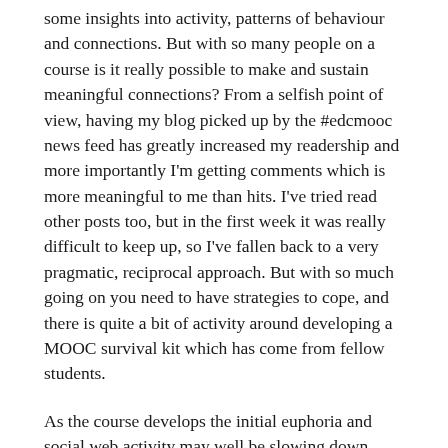some insights into activity, patterns of behaviour and connections. But with so many people on a course is it really possible to make and sustain meaningful connections? From a selfish point of view, having my blog picked up by the #edcmooc news feed has greatly increased my readership and more importantly I'm getting comments which is more meaningful to me than hits. I've tried read other posts too, but in the first week it was really difficult to keep up, so I've fallen back to a very pragmatic, reciprocal approach. But with so much going on you need to have strategies to cope, and there is quite a bit of activity around developing a MOOC survival kit which has come from fellow students.
As the course develops the initial euphoria and social web activity may well be slowing down. Looking at the twitter activity it does look like it is on a downwards trend.